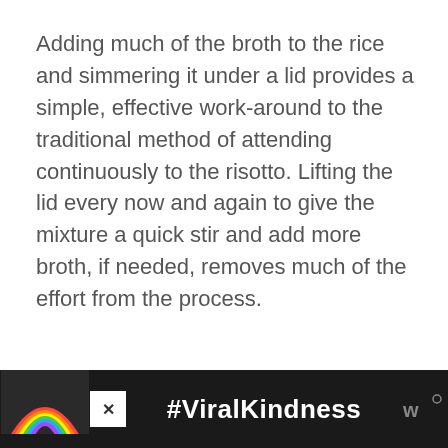Adding much of the broth to the rice and simmering it under a lid provides a simple, effective work-around to the traditional method of attending continuously to the risotto. Lifting the lid every now and again to give the mixture a quick stir and add more broth, if needed, removes much of the effort from the process.
[Figure (infographic): Advertisement banner with dark background showing a rainbow illustration on left, '#ViralKindness' text in white in center, a close (X) button, and a logo on the right.]